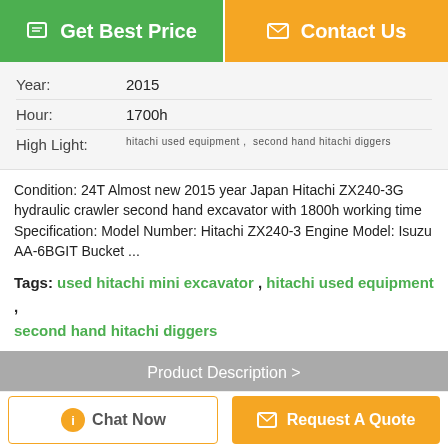[Figure (other): Two buttons: green 'Get Best Price' and orange 'Contact Us']
| Year: | 2015 |
| Hour: | 1700h |
| High Light: | hitachi used equipment ,  second hand hitachi diggers |
Condition: 24T Almost new 2015 year Japan Hitachi ZX240-3G hydraulic crawler second hand excavator with 1800h working time Specification: Model Number: Hitachi ZX240-3 Engine Model: Isuzu AA-6BGIT Bucket ...
Tags: used hitachi mini excavator , hitachi used equipment , second hand hitachi diggers
Product Description >
Get the Best Price for
[Figure (photo): Photo of an orange Hitachi excavator ZX240-3G]
Almost New 2015 Year Used Hitachi Excavator ZX240-3G 24T...
[Figure (other): Bottom bar with 'Chat Now' and 'Request A Quote' buttons]